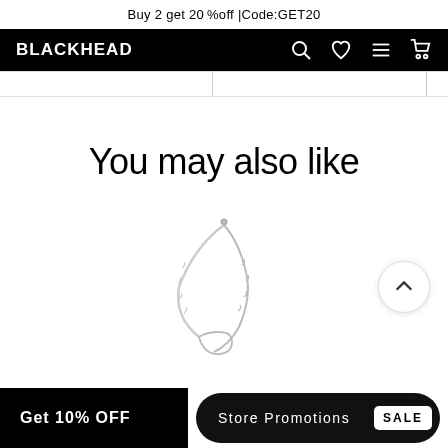Buy 2 get 20%off |Code:GET20
BLACKHEAD
You may also like
[Figure (photo): Silver chain necklace/bracelet jewelry product photo on white background]
Get 10% OFF
Store Promotions  SALE